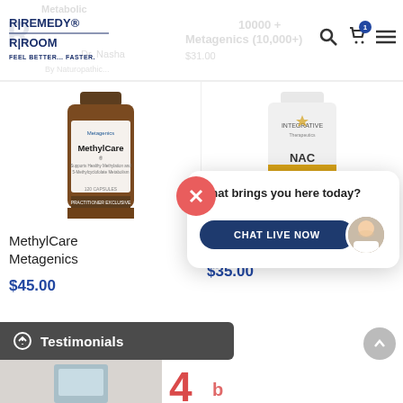[Figure (logo): Remedy Room logo with 'FEEL BETTER... FASTER.' tagline]
[Figure (photo): MethylCare Metagenics supplement bottle (brown bottle) with close X button overlay]
[Figure (photo): Integrative Therapeutics NAC supplement bottle (white bottle)]
MethylCare Metagenics
$45.00
Capsules,
$35.00
[Figure (screenshot): Chat popup with 'What brings you here today?' message, CHAT LIVE NOW button, and doctor avatar]
Testimonials
[Figure (photo): Bottom row partial product images]